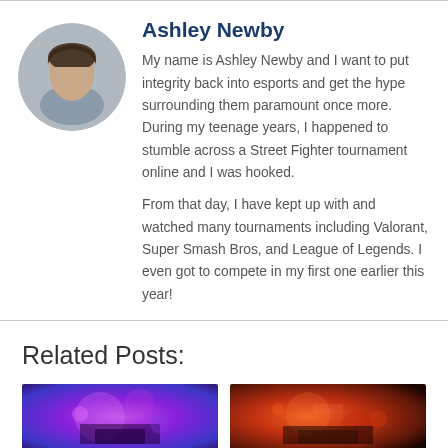Ashley Newby
My name is Ashley Newby and I want to put integrity back into esports and get the hype surrounding them paramount once more. During my teenage years, I happened to stumble across a Street Fighter tournament online and I was hooked.
From that day, I have kept up with and watched many tournaments including Valorant, Super Smash Bros, and League of Legends. I even got to compete in my first one earlier this year!
Related Posts:
[Figure (photo): Thumbnail image with purple and pink lighting, gaming/esports event scene]
[Figure (photo): Thumbnail image with red and orange lighting, gaming/esports event scene]